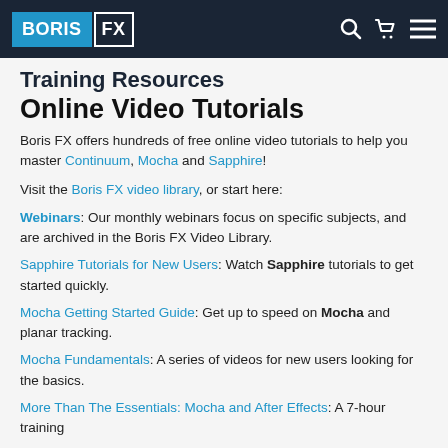[Figure (logo): Boris FX logo in navigation bar with search, cart, and menu icons]
Training Resources
Online Video Tutorials
Boris FX offers hundreds of free online video tutorials to help you master Continuum, Mocha and Sapphire!
Visit the Boris FX video library, or start here:
Webinars: Our monthly webinars focus on specific subjects, and are archived in the Boris FX Video Library.
Sapphire Tutorials for New Users: Watch Sapphire tutorials to get started quickly.
Mocha Getting Started Guide: Get up to speed on Mocha and planar tracking.
Mocha Fundamentals: A series of videos for new users looking for the basics.
More Than The Essentials: Mocha and After Effects: A 7-hour training